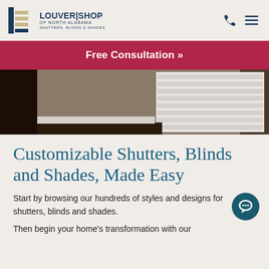[Figure (logo): Louver Shop of North Alabama logo with icon and text: LOUVER|SHOP OF NORTH ALABAMA SHUTTERS, BLINDS & SHADES]
[Figure (other): Phone icon and hamburger menu icon in navy blue]
Free Consultation »
[Figure (photo): Close-up photo of white plantation shutters on a window with dark wood frame]
Customizable Shutters, Blinds and Shades, Made Easy
Start by browsing our hundreds of styles and designs for shutters, blinds and shades.
Then begin your home's transformation with our